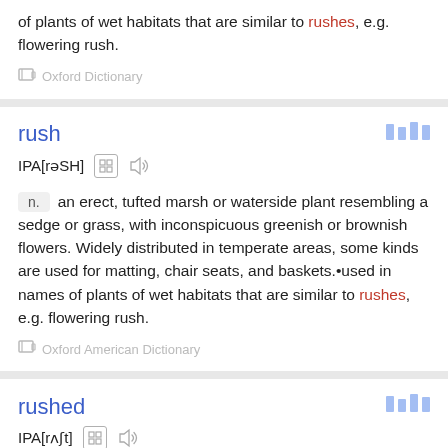of plants of wet habitats that are similar to rushes, e.g. flowering rush.
Oxford Dictionary
rush
IPA[rəSH]
an erect, tufted marsh or waterside plant resembling a sedge or grass, with inconspicuous greenish or brownish flowers. Widely distributed in temperate areas, some kinds are used for matting, chair seats, and baskets.•used in names of plants of wet habitats that are similar to rushes, e.g. flowering rush.
Oxford American Dictionary
rushed
IPA[rʌʃt]